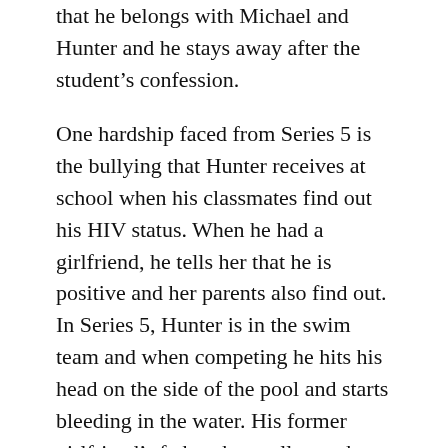that he belongs with Michael and Hunter and he stays away after the student's confession.
One hardship faced from Series 5 is the bullying that Hunter receives at school when his classmates find out his HIV status. When he had a girlfriend, he tells her that he is positive and her parents also find out. In Series 5, Hunter is in the swim team and when competing he hits his head on the side of the pool and starts bleeding in the water. His former girlfriend's father then yells out that he has Aids which leads to everyone panicking. Afterwards, everyone at Hunter's school avoids him or bullies him which leads to Hunter being ostracised and skipping school. Hunter then